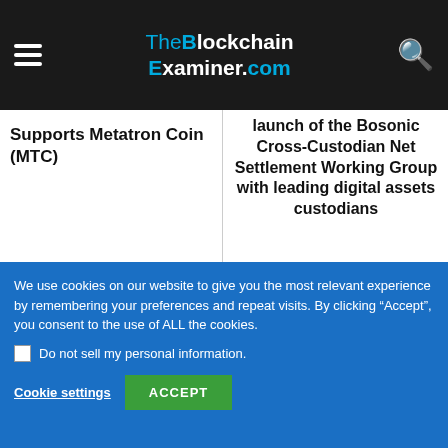TheBlockchainExaminer.com
Supports Metatron Coin (MTC)
launch of the Bosonic Cross-Custodian Net Settlement Working Group with leading digital assets custodians
[Figure (photo): Headshot photo of a young man smiling, outdoors, crowd in background]
We use cookies on our website to give you the most relevant experience by remembering your preferences and repeat visits. By clicking “Accept”, you consent to the use of ALL the cookies.
Do not sell my personal information.
Cookie settings
ACCEPT